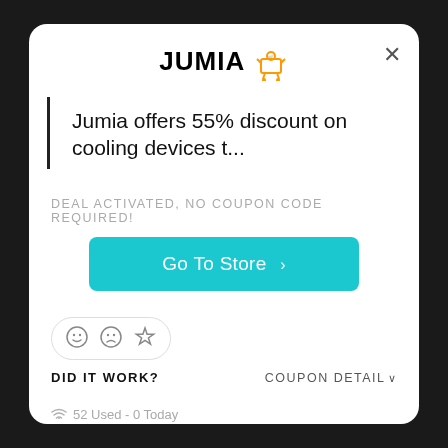[Figure (logo): Jumia logo with shopping cart icon in orange and black bold text]
Jumia offers 55% discount on cooling devices t...
DEAL ACTIVATED, NO COUPON CODE REQUIRED!
Go To Store >
[Figure (other): Feedback icons: smiley face, sad face, star — inside a pill-shaped border]
DID IT WORK?
COUPON DETAIL
52 Used - 0 Today